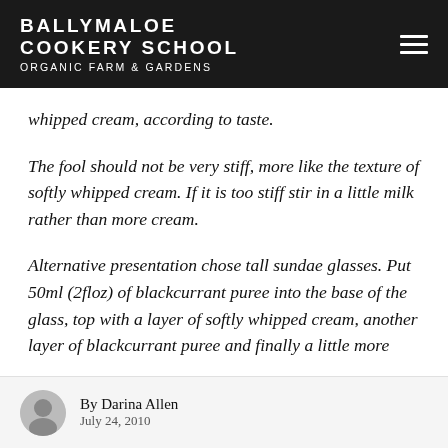BALLYMALOE COOKERY SCHOOL ORGANIC FARM & GARDENS
whipped cream, according to taste.
The fool should not be very stiff, more like the texture of softly whipped cream. If it is too stiff stir in a little milk rather than more cream.
Alternative presentation chose tall sundae glasses. Put 50ml (2floz) of blackcurrant puree into the base of the glass, top with a layer of softly whipped cream, another layer of blackcurrant puree and finally a little more
By Darina Allen
July 24, 2010